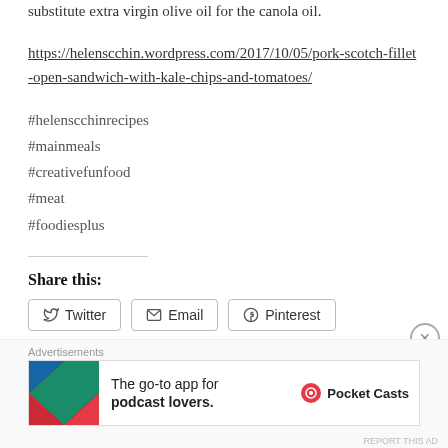substitute extra virgin olive oil for the canola oil.
https://helenscchin.wordpress.com/2017/10/05/pork-scotch-fillet-open-sandwich-with-kale-chips-and-tomatoes/
#helenscchinrecipes
#mainmeals
#creativefunfood
#meat
#foodiesplus
Share this:
Twitter  Email  Pinterest
Advertisements
The go-to app for podcast lovers. Pocket Casts